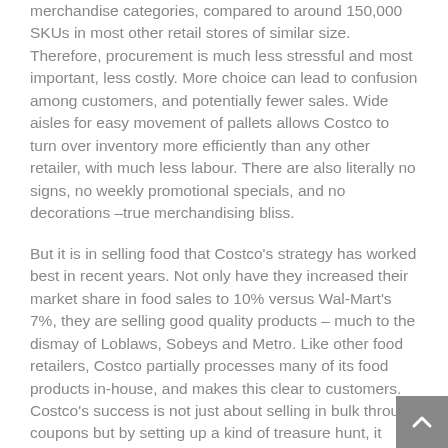merchandise categories, compared to around 150,000 SKUs in most other retail stores of similar size. Therefore, procurement is much less stressful and most important, less costly. More choice can lead to confusion among customers, and potentially fewer sales. Wide aisles for easy movement of pallets allows Costco to turn over inventory more efficiently than any other retailer, with much less labour. There are also literally no signs, no weekly promotional specials, and no decorations –true merchandising bliss.
But it is in selling food that Costco's strategy has worked best in recent years. Not only have they increased their market share in food sales to 10% versus Wal-Mart's 7%, they are selling good quality products – much to the dismay of Loblaws, Sobeys and Metro. Like other food retailers, Costco partially processes many of its food products in-house, and makes this clear to customers. Costco's success is not just about selling in bulk through coupons but by setting up a kind of treasure hunt, it entices customers to think about food at the just